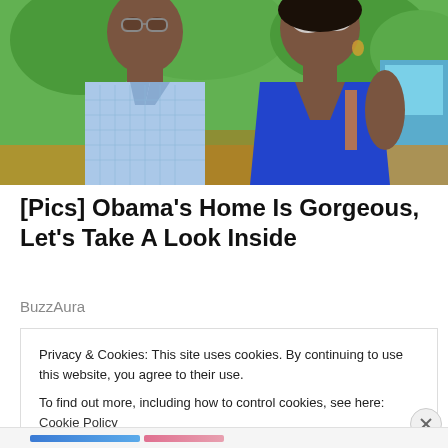[Figure (photo): Photo of two people outdoors with green trees in background. A man in a light blue checkered shirt on the left and a woman in a blue dress wearing sunglasses on the right.]
[Pics] Obama's Home Is Gorgeous, Let's Take A Look Inside
BuzzAura
Privacy & Cookies: This site uses cookies. By continuing to use this website, you agree to their use.
To find out more, including how to control cookies, see here: Cookie Policy
Close and accept